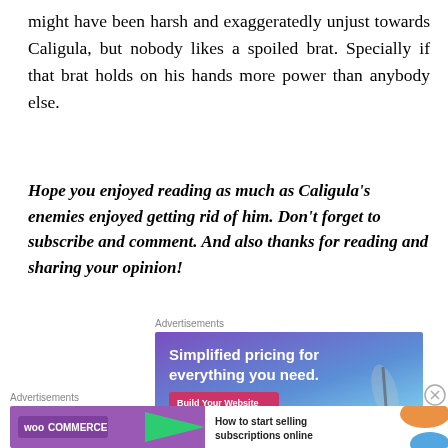might have been harsh and exaggeratedly unjust towards Caligula, but nobody likes a spoiled brat. Specially if that brat holds on his hands more power than anybody else.
Hope you enjoyed reading as much as Caligula's enemies enjoyed getting rid of him. Don't forget to subscribe and comment. And also thanks for reading and sharing your opinion!
Advertisements
[Figure (screenshot): Advertisement banner: 'Simplified pricing for everything you need. Build Your Website.' with gradient purple/blue background and a hand holding a stylus.]
Advertisements
[Figure (screenshot): WooCommerce advertisement: 'How to start selling subscriptions online' with WooCommerce logo and colorful shapes.]